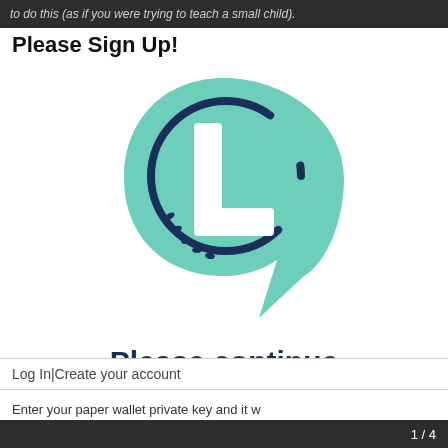to do this (as if you were trying to teach a small child).
Please Sign Up!
[Figure (logo): Litecoin logo — a teal speech-bubble shape containing a circle outline with a white stylized 'L' letter mark and dotted arc, all in dark navy on teal background.]
Please continue
Log In|Create your account
1 / 4
Enter your paper wallet private key and it w